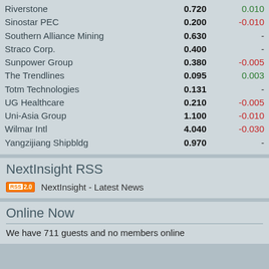| Name | Price | Change |
| --- | --- | --- |
| Riverstone | 0.720 | 0.010 |
| Sinostar PEC | 0.200 | -0.010 |
| Southern Alliance Mining | 0.630 | - |
| Straco Corp. | 0.400 | - |
| Sunpower Group | 0.380 | -0.005 |
| The Trendlines | 0.095 | 0.003 |
| Totm Technologies | 0.131 | - |
| UG Healthcare | 0.210 | -0.005 |
| Uni-Asia Group | 1.100 | -0.010 |
| Wilmar Intl | 4.040 | -0.030 |
| Yangzijiang Shipbldg | 0.970 | - |
NextInsight RSS
NextInsight - Latest News
Online Now
We have 711 guests and no members online